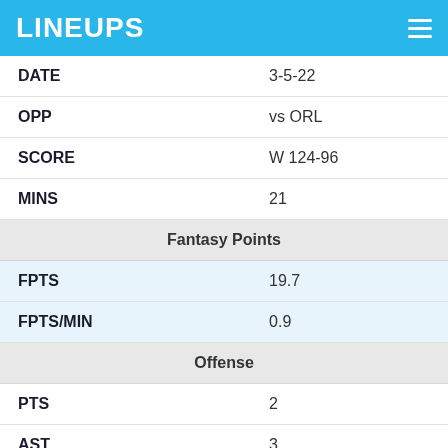LINEUPS
| Field | Value |
| --- | --- |
| DATE | 3-5-22 |
| OPP | vs ORL |
| SCORE | W 124-96 |
| MINS | 21 |
| Fantasy Points |  |
| FPTS | 19.7 |
| FPTS/MIN | 0.9 |
| Offense |  |
| PTS | 2 |
| AST | 3 |
| FGM | 1 |
| FGA | 3 |